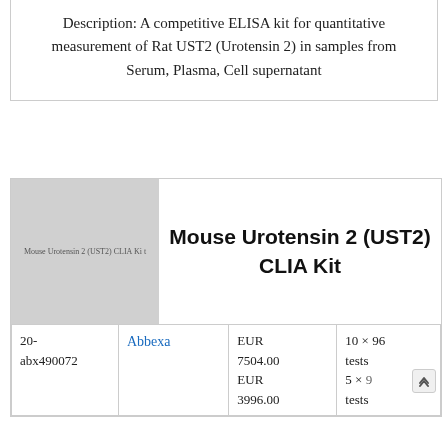Description: A competitive ELISA kit for quantitative measurement of Rat UST2 (Urotensin 2) in samples from Serum, Plasma, Cell supernatant
[Figure (photo): Product image placeholder for Mouse Urotensin 2 (UST2) CLIA Kit, grey box with small text label]
Mouse Urotensin 2 (UST2) CLIA Kit
| Catalog | Supplier | Price | Size |
| --- | --- | --- | --- |
| 20-abx490072 | Abbexa | EUR 7504.00
EUR 3996.00 | 10 × 96 tests
5 × 96 tests |